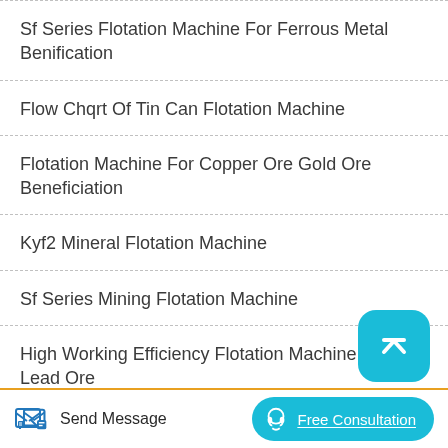Sf Series Flotation Machine For Ferrous Metal Benification
Flow Chqrt Of Tin Can Flotation Machine
Flotation Machine For Copper Ore Gold Ore Beneficiation
Kyf2 Mineral Flotation Machine
Sf Series Mining Flotation Machine
High Working Efficiency Flotation Machine For Lead Ore
Send Message   Free Consultation